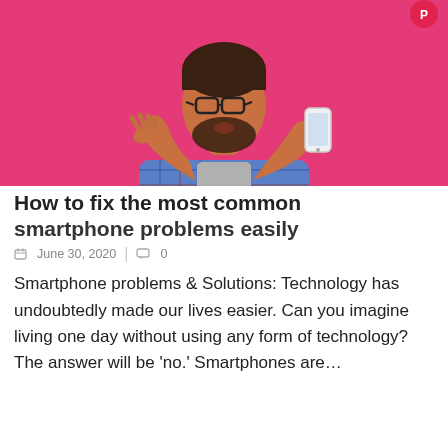[Figure (photo): Man in plaid shirt looking at smartphone with frustrated/angry expression, pink background]
How to fix the most common smartphone problems easily
June 30, 2020  |  0
Smartphone problems & Solutions: Technology has undoubtedly made our lives easier. Can you imagine living one day without using any form of technology? The answer will be 'no.' Smartphones are…